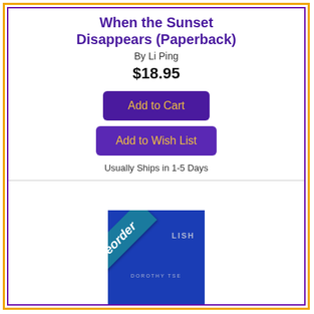When the Sunset Disappears (Paperback)
By Li Ping
$18.95
Add to Cart
Add to Wish List
Usually Ships in 1-5 Days
[Figure (illustration): Book cover for Owlish with a blue background, showing title text and a Preorder banner/ribbon in teal across the corner]
Owlish (Paperback)
By Dorothy Tse, Natascha Bruce (Translator)